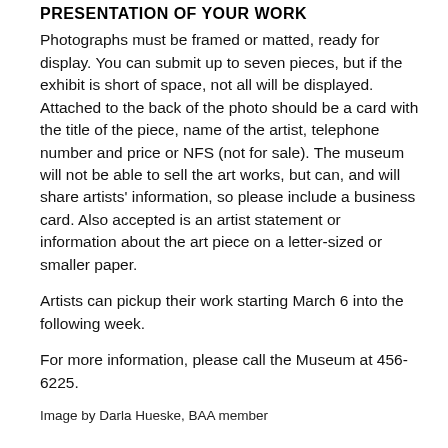PRESENTATION OF YOUR WORK
Photographs must be framed or matted, ready for display. You can submit up to seven pieces, but if the exhibit is short of space, not all will be displayed. Attached to the back of the photo should be a card with the title of the piece, name of the artist, telephone number and price or NFS (not for sale). The museum will not be able to sell the art works, but can, and will share artists' information, so please include a business card. Also accepted is an artist statement or information about the art piece on a letter-sized or smaller paper.
Artists can pickup their work starting March 6 into the following week.
For more information, please call the Museum at 456-6225.
Image by Darla Hueske, BAA member